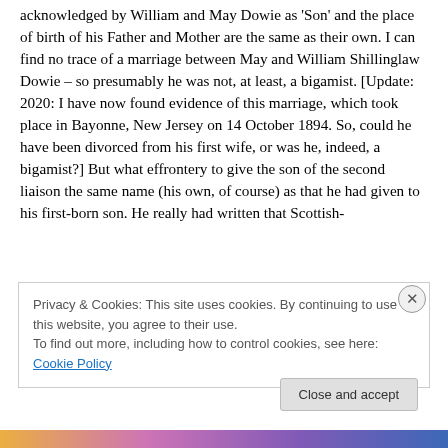acknowledged by William and May Dowie as 'Son' and the place of birth of his Father and Mother are the same as their own. I can find no trace of a marriage between May and William Shillinglaw Dowie – so presumably he was not, at least, a bigamist. [Update: 2020: I have now found evidence of this marriage, which took place in Bayonne, New Jersey on 14 October 1894. So, could he have been divorced from his first wife, or was he, indeed, a bigamist?] But what effrontery to give the son of the second liaison the same name (his own, of course) as that he had given to his first-born son. He really had written that Scottish-
Privacy & Cookies: This site uses cookies. By continuing to use this website, you agree to their use.
To find out more, including how to control cookies, see here: Cookie Policy
Close and accept